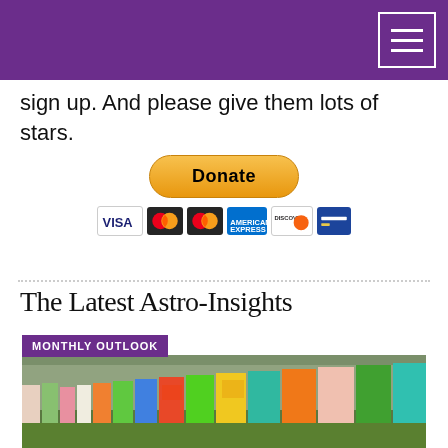Navigation bar with hamburger menu
sign up. And please give them lots of stars.
[Figure (other): PayPal Donate button with payment card icons (Visa, Mastercard, Mastercard, American Express, Discover, and another card)]
The Latest Astro-Insights
MONTHLY OUTLOOK
[Figure (photo): Outdoor photo showing a row of colorful painted milk cartons or boxes on grass, with blurred people in the background at what appears to be a community event.]